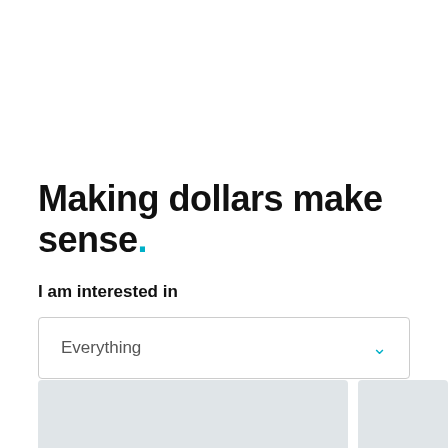Making dollars make sense.
I am interested in
Everything